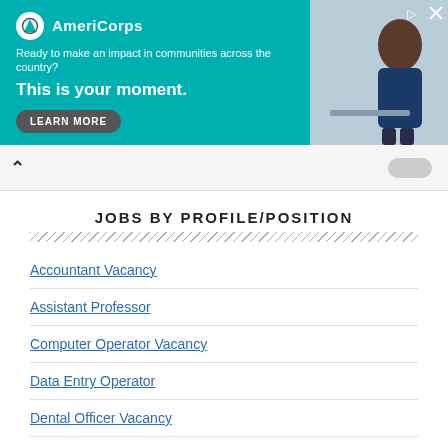[Figure (other): AmeriCorps advertisement banner with teal background, logo, tagline 'Ready to make an impact in communities across the country?', headline 'This is your moment.', and a LEARN MORE button. Photo of a student on the right side.]
JOBS BY PROFILE/POSITION
Accountant Vacancy
Assistant Professor
Computer Operator Vacancy
Data Entry Operator
Dental Officer Vacancy
Driver Vacancy